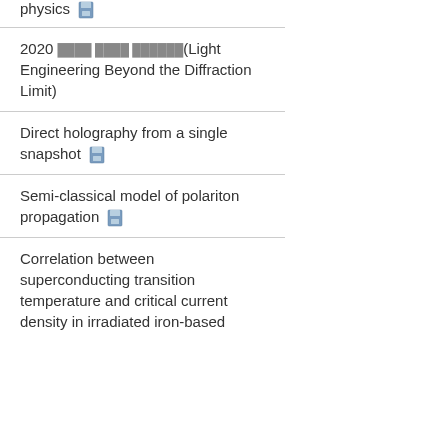physics
2020 ████ ████ ██████(Light Engineering Beyond the Diffraction Limit)
Direct holography from a single snapshot
Semi-classical model of polariton propagation
Correlation between superconducting transition temperature and critical current density in irradiated iron-based